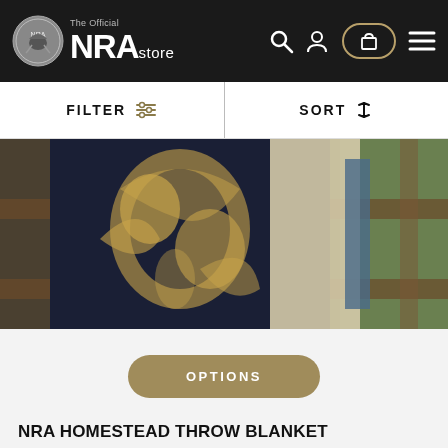The Official NRA store
FILTER  SORT
[Figure (photo): NRA Homestead Throw Blanket draped over a wooden fence railing, showing a dark navy and gold pattern with eagle motifs, photographed outdoors]
OPTIONS
NRA HOMESTEAD THROW BLANKET
$69.95